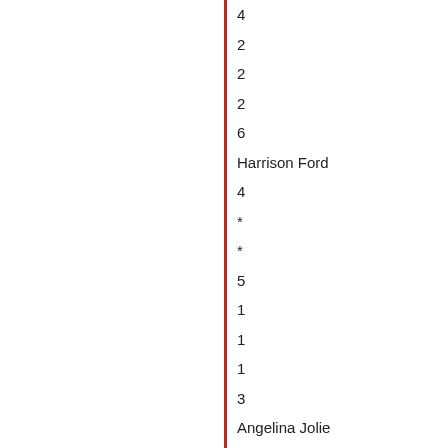4
2
2
2
6
Harrison Ford
4
*
*
5
1
1
1
3
Angelina Jolie
*